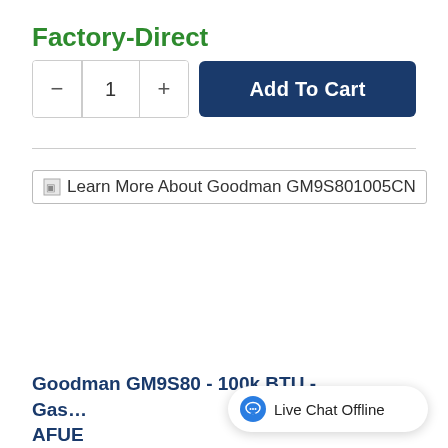Factory-Direct
[Figure (other): Add to Cart widget with quantity selector (minus, 1, plus) and blue Add To Cart button]
[Figure (other): Learn More About Goodman GM9S801005CN banner with broken image icon]
Goodman GM9S80 - 100k BTU - Gas ... AFUE
[Figure (other): Live Chat Offline widget button in bottom right corner]